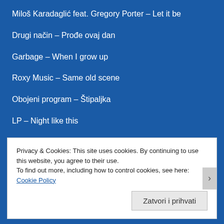Miloš Karadaglić feat. Gregory Porter – Let it be
Drugi način – Prođe ovaj dan
Garbage – When I grow up
Roxy Music – Same old scene
Obojeni program – Štipaljka
LP – Night like this
Matt Berninger – Loved so little
Privacy & Cookies: This site uses cookies. By continuing to use this website, you agree to their use.
To find out more, including how to control cookies, see here: Cookie Policy
Zatvori i prihvati